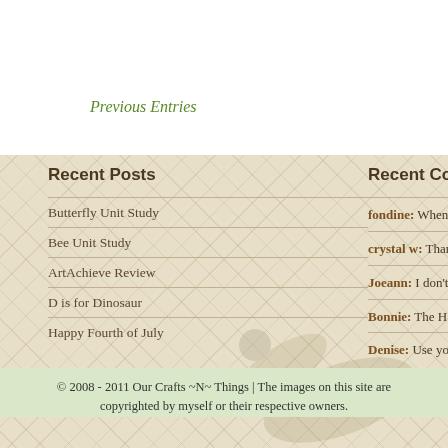Previous Entries
Recent Posts
Butterfly Unit Study
Bee Unit Study
ArtAchieve Review
D is for Dinosaur
Happy Fourth of July
Recent Comments
fondine: When I initially le appear to have clicked on ...
crystal w: Thanks for the a saw in your sensory bin tha
Joeann: I don't know wheth if perhaps everyone els...
Bonnie: The H for hippo co bottom says confessionsofa
Denise: Use your imaginati super cute...
© 2008 - 2011 Our Crafts ~N~ Things | The images on this site are copyrighted by myself or their respective owners.